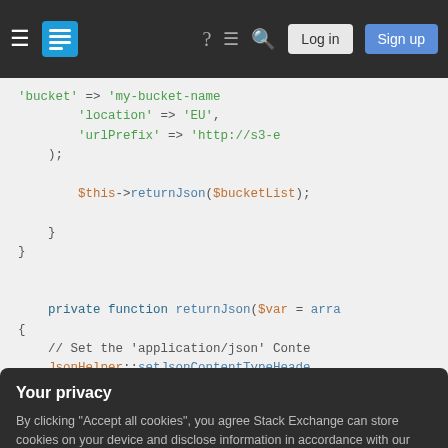Stack Exchange navigation bar with hamburger menu, logo, help, chat, search icons, Log in and Sign up buttons
[Figure (screenshot): PHP code snippet showing array keys 'bucket', 'location', 'urlPrefix', closing parenthesis, $this->returnJson($bucketList), closing braces, then private function returnJson($var = arr, opening brace, comment '// Set the application/json Conte', and JsonHelper::setJsonContentTypeHeade]
Your privacy
By clicking "Accept all cookies", you agree Stack Exchange can store cookies on your device and disclose information in accordance with our Cookie Policy.
Accept all cookies   Customize settings